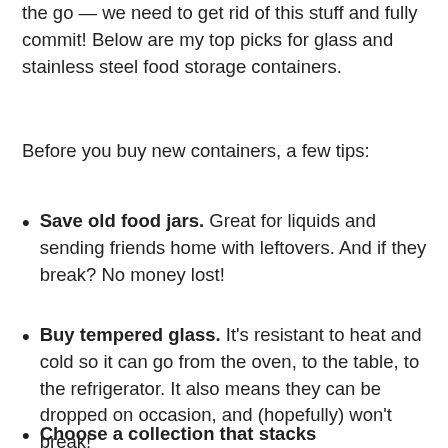the go — we need to get rid of this stuff and fully commit! Below are my top picks for glass and stainless steel food storage containers.
Before you buy new containers, a few tips:
Save old food jars. Great for liquids and sending friends home with leftovers. And if they break? No money lost!
Buy tempered glass. It's resistant to heat and cold so it can go from the oven, to the table, to the refrigerator. It also means they can be dropped on occasion, and (hopefully) won't break!
Choose a collection that stacks